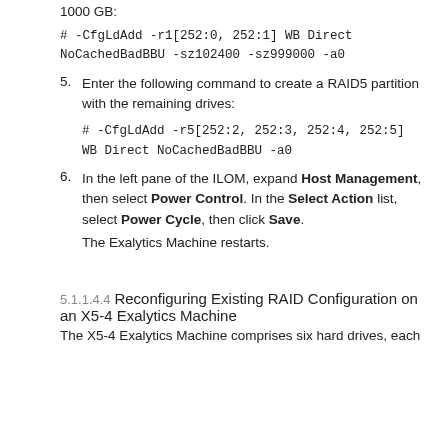1000 GB:
5. Enter the following command to create a RAID5 partition with the remaining drives:
6. In the left pane of the ILOM, expand Host Management, then select Power Control. In the Select Action list, select Power Cycle, then click Save.
The Exalytics Machine restarts.
5.1.1.4.4 Reconfiguring Existing RAID Configuration on an X5-4 Exalytics Machine
The X5-4 Exalytics Machine comprises six hard drives, each